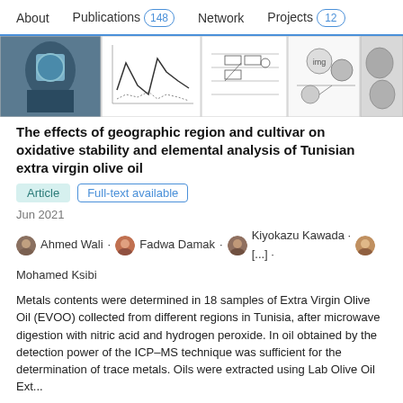About  Publications 148  Network  Projects 12
[Figure (screenshot): Row of 5 thumbnail images: a photo of laboratory equipment (blue barrels), a line graph, a schematic diagram, a mixed diagram with arrows, and a grayscale microscopy-type image]
The effects of geographic region and cultivar on oxidative stability and elemental analysis of Tunisian extra virgin olive oil
Article  Full-text available
Jun 2021
Ahmed Wali · Fadwa Damak · Kiyokazu Kawada · [...] · Mohamed Ksibi
Metals contents were determined in 18 samples of Extra Virgin Olive Oil (EVOO) collected from different regions in Tunisia, after microwave digestion with nitric acid and hydrogen peroxide. In oil obtained by the detection power of the ICP–MS technique was sufficient for the determination of trace metals. Oils were extracted using Lab Olive Oil Ext...
View